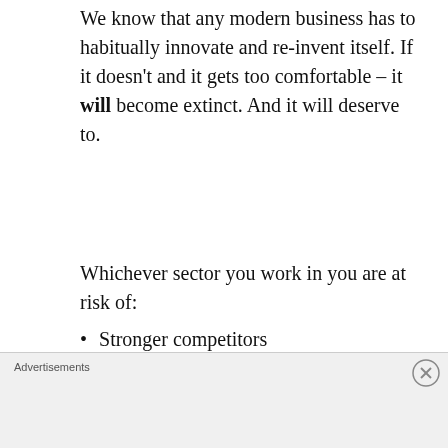We know that any modern business has to habitually innovate and re-invent itself. If it doesn't and it gets too comfortable – it will become extinct. And it will deserve to.
Whichever sector you work in you are at risk of:
Stronger competitors
Disruptive technology
Demographic changes in your market
Changes in the economy
Changes that alter the way customers access your business
Or changes in politics and regulations
Advertisements